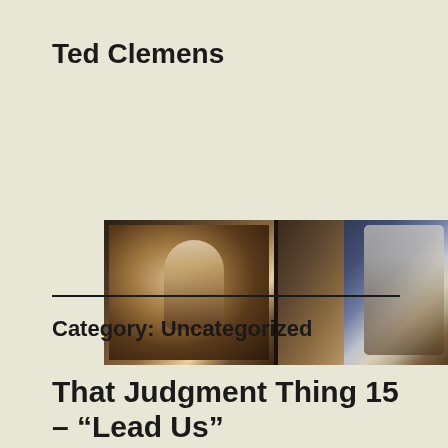Ted Clemens
[Figure (photo): Two side-by-side detail photographs of what appears to be a Vermeer painting showing a woman in a white headdress and dark clothing, examining or holding something, with a mirror visible in the left panel.]
Category: Uncategorized
That Judgment Thing 15 – “Lead Us”